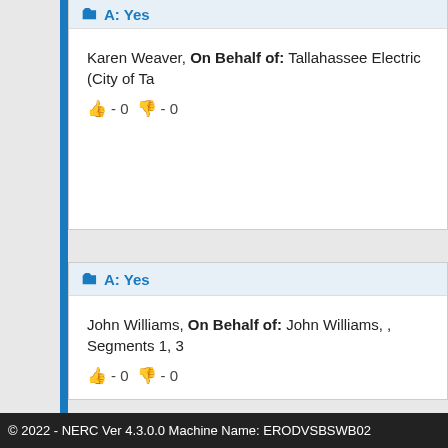A: Yes
Karen Weaver, On Behalf of: Tallahassee Electric (City of Ta...
👍 - 0 👎 - 0
A: Yes
John Williams, On Behalf of: John Williams, , Segments 1, 3...
👍 - 0 👎 - 0
© 2022 - NERC Ver 4.3.0.0 Machine Name: ERODVSBSWB02